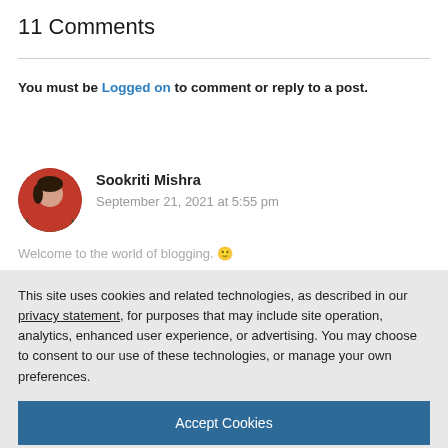11 Comments
You must be Logged on to comment or reply to a post.
Sookriti Mishra
September 21, 2021 at 5:55 pm
Welcome to the world of blogging. 🙂
This site uses cookies and related technologies, as described in our privacy statement, for purposes that may include site operation, analytics, enhanced user experience, or advertising. You may choose to consent to our use of these technologies, or manage your own preferences.
Accept Cookies
More Information
Privacy Policy | Powered by: TrustArc